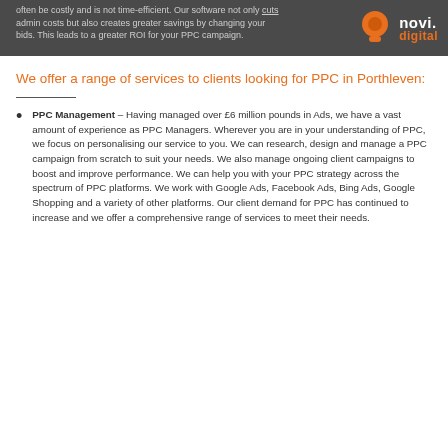often be costly and is not time-efficient. Our software not only cuts admin costs but also creates greater savings by changing your bids. This leads to a greater ROI for your PPC campaign.
We offer a range of services to clients looking for PPC in Porthleven:
PPC Management – Having managed over £6 million pounds in Ads, we have a vast amount of experience as PPC Managers. Wherever you are in your understanding of PPC, we focus on personalising our service to you. We can research, design and manage a PPC campaign from scratch to suit your needs. We also manage ongoing client campaigns to boost and improve performance. We can help you with your PPC strategy across the spectrum of PPC platforms. We work with Google Ads, Facebook Ads, Bing Ads, Google Shopping and a variety of other platforms. Our client demand for PPC has continued to increase and we offer a comprehensive range of services to meet their needs.